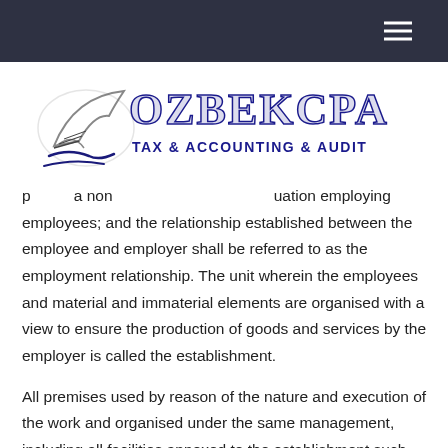OZBEKCPA TAX & ACCOUNTING & AUDIT
person a noncorporate institution a guardian employing employees; and the relationship established between the employee and employer shall be referred to as the employment relationship. The unit wherein the employees and material and immaterial elements are organised with a view to ensure the production of goods and services by the employer is called the establishment.
All premises used by reason of the nature and execution of the work and organised under the same management, including all facilities annexed to the establishment such